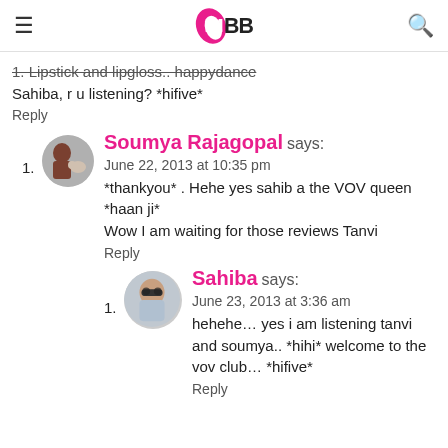IMBB logo with hamburger menu and search icon
1. Lipstick and lipgloss.. happydance Sahiba, r u listening? *hifive*
Reply
1. Soumya Rajagopal says:
June 22, 2013 at 10:35 pm
*thankyou* . Hehe yes sahib a the VOV queen *haan ji*
Wow I am waiting for those reviews Tanvi
Reply
1. Sahiba says:
June 23, 2013 at 3:36 am
hehehe… yes i am listening tanvi and soumya.. *hihi* welcome to the vov club… *hifive*
Reply